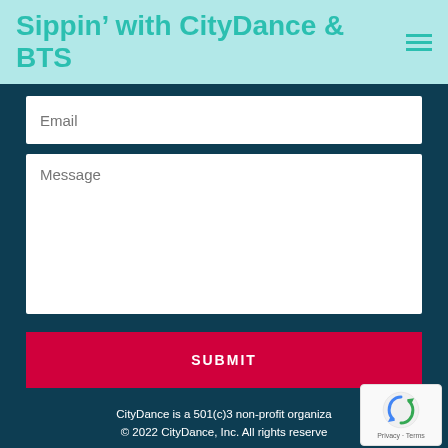Sippin' with CityDance & BTS
Email
Message
SUBMIT
CityDance is a 501(c)3 non-profit organiza...
© 2022 CityDance, Inc. All rights reserve...